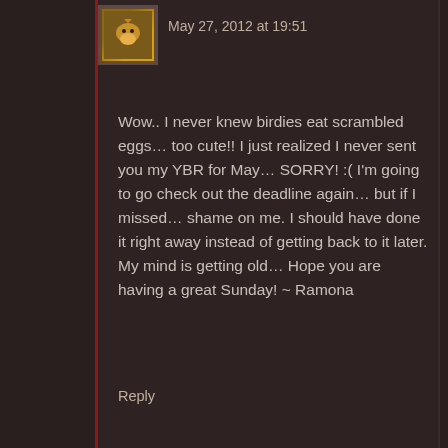May 27, 2012 at 19:51
Wow.. I never knew birdies eat scrambled eggs… too cute!! I just realized I never sent you my YBR for May… SORRY! :( I'm going to go check out the deadline again… but if I missed… shame on me. I should have done it right away instead of getting back to it later. My mind is getting old… Hope you are having a great Sunday! ~ Ramona
Reply